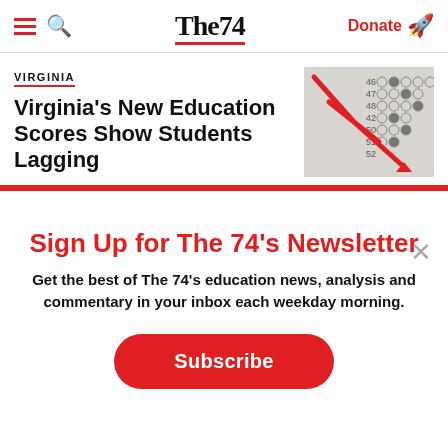The74 — Donate
VIRGINIA
Virginia's New Education Scores Show Students Lagging
[Figure (photo): Scantron multiple choice answer sheet with a red downward arrow overlay]
Sign Up for The 74's Newsletter
Get the best of The 74's education news, analysis and commentary in your inbox each weekday morning.
Subscribe